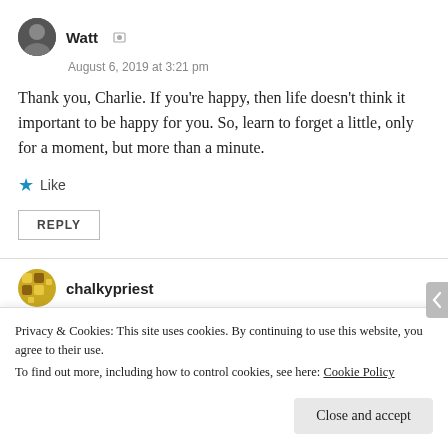Watt
August 6, 2019 at 3:21 pm
Thank you, Charlie. If you're happy, then life doesn't think it important to be happy for you. So, learn to forget a little, only for a moment, but more than a minute.
Like
REPLY
chalkypriest
Privacy & Cookies: This site uses cookies. By continuing to use this website, you agree to their use.
To find out more, including how to control cookies, see here: Cookie Policy
Close and accept